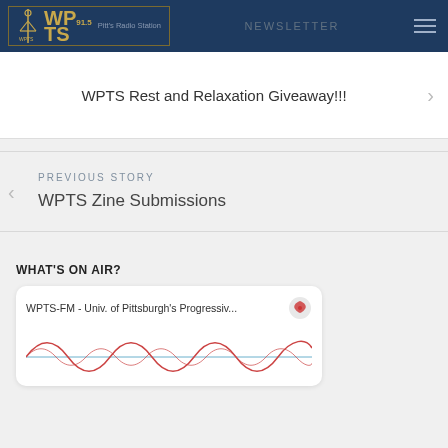WPTS Radio Station navigation header with logo and hamburger menu
WPTS Rest and Relaxation Giveaway!!!
PREVIOUS STORY
WPTS Zine Submissions
WHAT'S ON AIR?
WPTS-FM - Univ. of Pittsburgh's Progressiv...